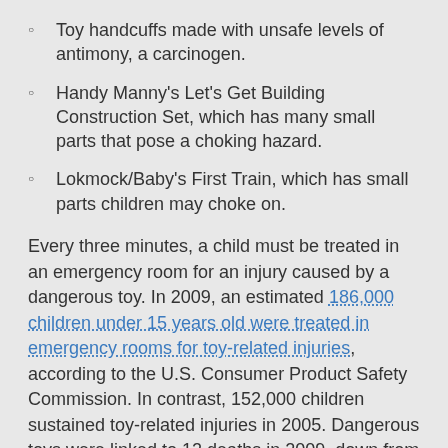Toy handcuffs made with unsafe levels of antimony, a carcinogen.
Handy Manny’s Let’s Get Building Construction Set, which has many small parts that pose a choking hazard.
Lokmock/Baby’s First Train, which has small parts children may choke on.
Every three minutes, a child must be treated in an emergency room for an injury caused by a dangerous toy. In 2009, an estimated 186,000 children under 15 years old were treated in emergency rooms for toy-related injuries, according to the U.S. Consumer Product Safety Commission. In contrast, 152,000 children sustained toy-related injuries in 2005. Dangerous toys were linked to 12 deaths in 2009, down from 24 toy-related fatalities in 2007 and 2008.